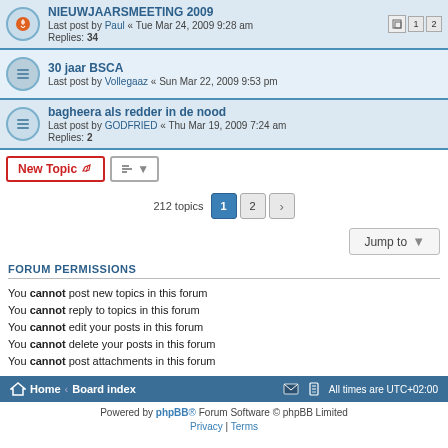NIEUWJAARSMEETING 2009 — Last post by Paul « Tue Mar 24, 2009 9:28 am — Replies: 34
30 jaar BSCA — Last post by Vollegaaz « Sun Mar 22, 2009 9:53 pm
bagheera als redder in de nood — Last post by GODFRIED « Thu Mar 19, 2009 7:24 am — Replies: 2
212 topics
You cannot post new topics in this forum
You cannot reply to topics in this forum
You cannot edit your posts in this forum
You cannot delete your posts in this forum
You cannot post attachments in this forum
FORUM PERMISSIONS
Home · Board index — All times are UTC+02:00
Powered by phpBB® Forum Software © phpBB Limited
Privacy | Terms